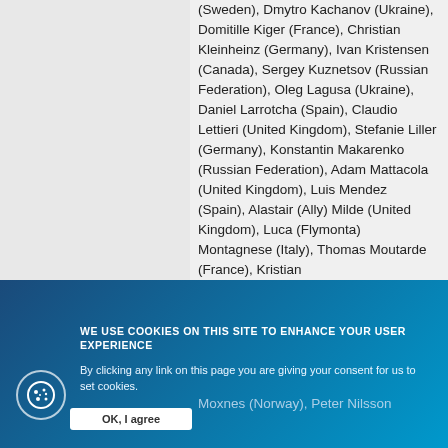(Sweden), Dmytro Kachanov (Ukraine), Domitille Kiger (France), Christian Kleinheinz (Germany), Ivan Kristensen (Canada), Sergey Kuznetsov (Russian Federation), Oleg Lagusa (Ukraine), Daniel Larrotcha (Spain), Claudio Lettieri (United Kingdom), Stefanie Liller (Germany), Konstantin Makarenko (Russian Federation), Adam Mattacola (United Kingdom), Luis Mendez (Spain), Alastair (Ally) Milde (United Kingdom), Luca (Flymonta) Montagnese (Italy), Thomas Moutarde (France), Kristian
Moxnes (Norway), Peter Nilsson
WE USE COOKIES ON THIS SITE TO ENHANCE YOUR USER EXPERIENCE
By clicking any link on this page you are giving your consent for us to set cookies.
Kingdom), Bent-Kristoffer Onchus
(Norway), Vladimir Polyakov